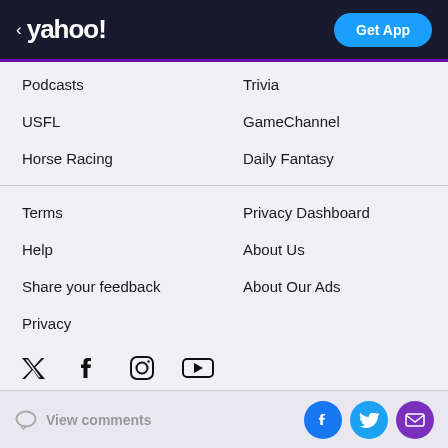< yahoo! | Get App
Podcasts
Trivia
USFL
GameChannel
Horse Racing
Daily Fantasy
Terms
Privacy Dashboard
Help
About Us
Share your feedback
About Our Ads
Privacy
[Figure (other): Social media icons: Twitter, Facebook, Instagram, YouTube]
View comments | Facebook, Twitter, Mail social share buttons